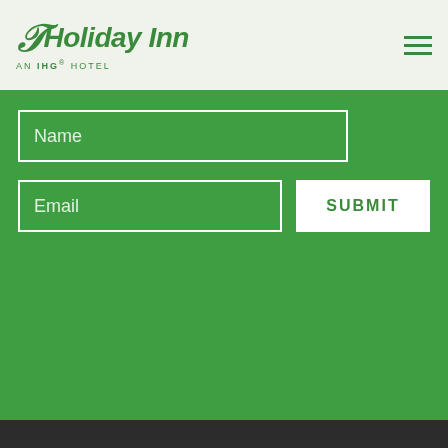[Figure (logo): Holiday Inn AN IHG HOTEL logo in green, with stylized H mark]
Name
Email
SUBMIT
Book online or call us 001 800 656 888
Hotel Front Desk:+66 38 725 555
463/68, 463/99 Moo 9 Pattaya Sai 1 Road, Nongprue Banglamung, Pattaya Chonburi 20150 Thailand
BOOK NOW